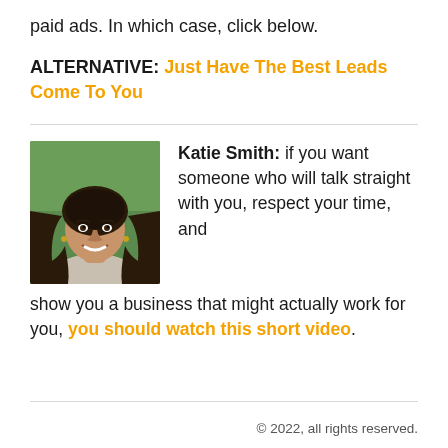paid ads. In which case, click below.
ALTERNATIVE: Just Have The Best Leads Come To You
Katie Smith: if you want someone who will talk straight with you, respect your time, and show you a business that might actually work for you, you should watch this short video.
© 2022, all rights reserved.